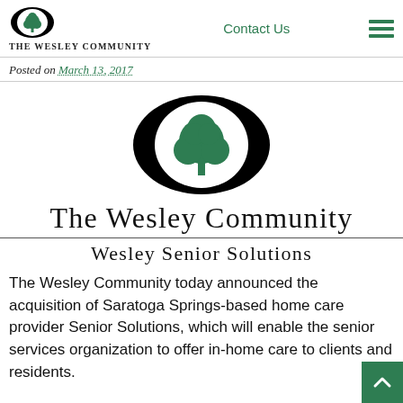The Wesley Community | Contact Us
Posted on March 13, 2017
[Figure (logo): The Wesley Community logo — large black oval with a green tree inside, centered on page]
The Wesley Community
Wesley Senior Solutions
The Wesley Community today announced the acquisition of Saratoga Springs-based home care provider Senior Solutions, which will enable the senior services organization to offer in-home care to clients and residents.